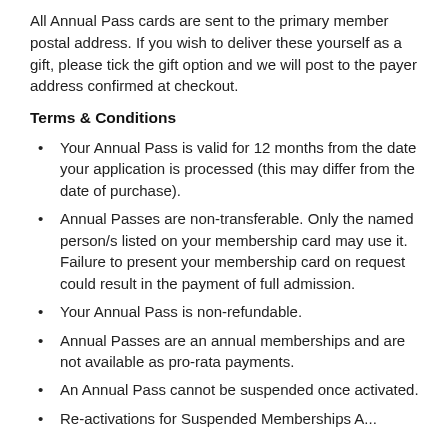All Annual Pass cards are sent to the primary member postal address. If you wish to deliver these yourself as a gift, please tick the gift option and we will post to the payer address confirmed at checkout.
Terms & Conditions
Your Annual Pass is valid for 12 months from the date your application is processed (this may differ from the date of purchase).
Annual Passes are non-transferable. Only the named person/s listed on your membership card may use it. Failure to present your membership card on request could result in the payment of full admission.
Your Annual Pass is non-refundable.
Annual Passes are an annual memberships and are not available as pro-rata payments.
An Annual Pass cannot be suspended once activated.
Re-activations for Suspended Memberships A...